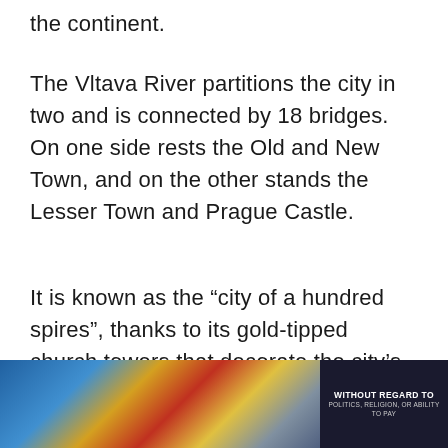the continent.
The Vltava River partitions the city in two and is connected by 18 bridges. On one side rests the Old and New Town, and on the other stands the Lesser Town and Prague Castle.
It is known as the “city of a hundred spires”, thanks to its gold-tipped church towers that decorate the city’s skyline.
[Figure (photo): Advertisement banner showing an airplane being loaded with cargo, with text overlay reading WITHOUT REGARD TO POLITICS, RELIGION, OR ABILITY TO PAY]